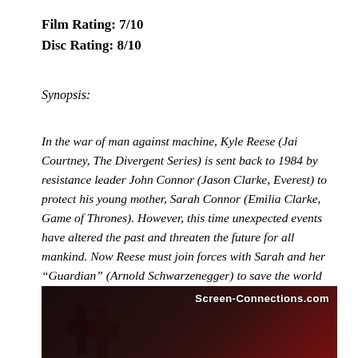Film Rating: 7/10
Disc Rating: 8/10
Synopsis:
In the war of man against machine, Kyle Reese (Jai Courtney, The Divergent Series) is sent back to 1984 by resistance leader John Connor (Jason Clarke, Everest) to protect his young mother, Sarah Connor (Emilia Clarke, Game of Thrones). However, this time unexpected events have altered the past and threaten the future for all mankind. Now Reese must join forces with Sarah and her “Guardian” (Arnold Schwarzenegger) to save the world and stop the next evolution of Terminators.
[Figure (photo): Dark movie still from Terminator Genisys with a watermark reading Screen-Connections.com in the upper right corner. The image shows dark figures against a reddish dark background.]